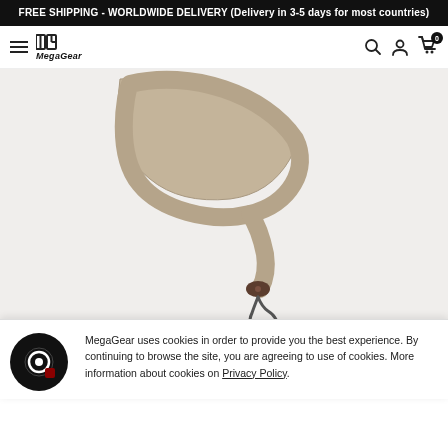FREE SHIPPING - WORLDWIDE DELIVERY (Delivery in 3-5 days for most countries)
[Figure (logo): MegaGear brand logo with hamburger menu, search, account, and cart icons]
[Figure (photo): A tan/beige camera strap with leather connector and metal clip, shown on white background]
MegaGear uses cookies in order to provide you the best experience. By continuing to browse the site, you are agreeing to use of cookies. More information about cookies on Privacy Policy.